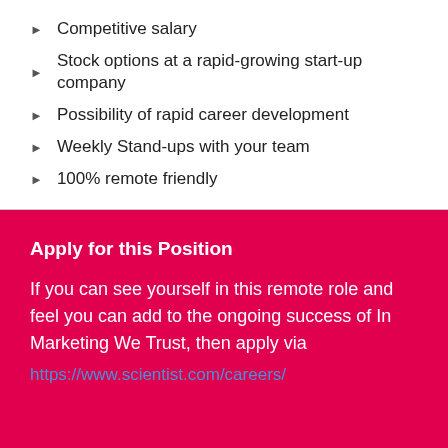Competitive salary
Stock options at a rapid-growing start-up company
Possibility of rapid career development
Weekly Stand-ups with your team
100% remote friendly
Apply for this Position
If you can see yourself in this remote role and feel you can add to the ongoing success of In Marketing We Trust, then apply via
https://www.scientist.com/careers/